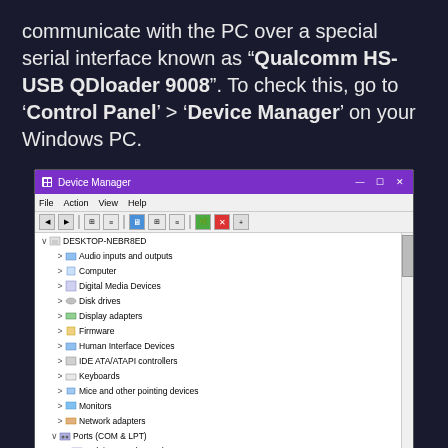communicate with the PC over a special serial interface known as "Qualcomm HS-USB QDloader 9008". To check this, go to 'Control Panel' > 'Device Manager' on your Windows PC.
[Figure (screenshot): Windows Device Manager screenshot showing Ports (COM & LPT) expanded with 'Qualcomm HS-USB QDLoader 9008 (COM7)' highlighted in blue. Other devices listed include Arduino Uno (COM3) and Communications Port (COM1). Full tree includes Audio inputs and outputs, Computer, Digital Media Devices, Disk drives, Display adapters, Firmware, Human Interface Devices, IDE ATA/ATAPI controllers, Keyboards, Mice and other pointing devices, Monitors, Network adapters, Print queues, Processors, Software components, Software devices, Sound video and game controllers, Storage controllers, System devices, Universal Serial Bus controllers.]